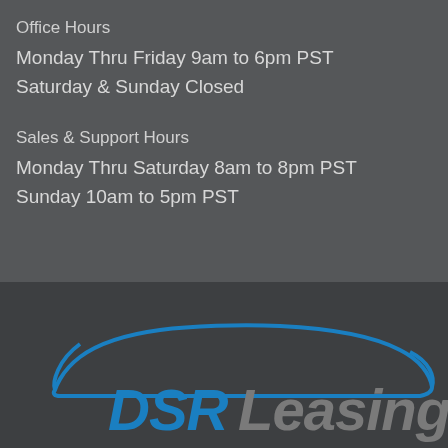Office Hours
Monday Thru Friday 9am to 6pm PST
Saturday & Sunday Closed
Sales & Support Hours
Monday Thru Saturday 8am to 8pm PST
Sunday 10am to 5pm PST
[Figure (logo): DSR Leasing logo — blue italic 'DSR' text with grey 'Leasing' text, overlaid with a blue car silhouette outline on a dark background]